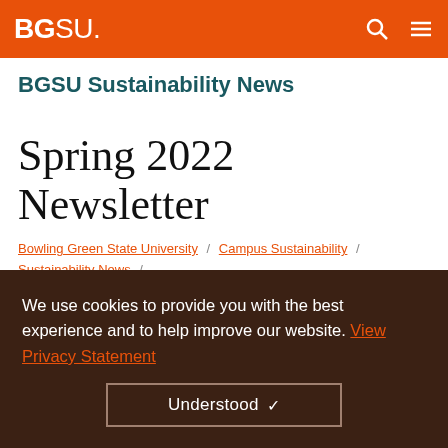BGSU.
BGSU Sustainability News
Spring 2022 Newsletter
Bowling Green State University / Campus Sustainability / Sustainability News / Spring 2022 Newsletter
[Figure (screenshot): Partially visible peach-colored section with brown header box showing partial text 'Eco Hero Spotlight']
We use cookies to provide you with the best experience and to help improve our website. View Privacy Statement
Understood ✓